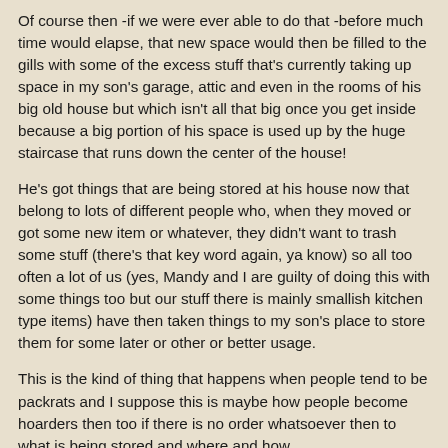Of course then -if we were ever able to do that -before much time would elapse, that new space would then be filled to the gills with some of the excess stuff that's currently taking up space in my son's garage, attic and even in the rooms of his big old house but which isn't all that big once you get inside because a big portion of his space is used up by the huge staircase that runs down the center of the house!
He's got things that are being stored at his house now that belong to lots of different people who, when they moved or got some new item or whatever, they didn't want to trash some stuff (there's that key word again, ya know) so all too often a lot of us (yes, Mandy and I are guilty of doing this with some things too but our stuff there is mainly smallish kitchen type items) have then taken things to my son's place to store them for some later or other or better usage.
This is the kind of thing that happens when people tend to be packrats and I suppose this is maybe how people become hoarders then too if there is no order whatsoever then to what is being stored and where and how.